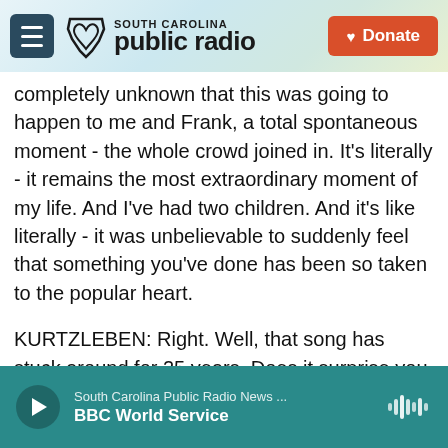South Carolina Public Radio — Header with hamburger menu, logo, and Donate button
completely unknown that this was going to happen to me and Frank, a total spontaneous moment - the whole crowd joined in. It's literally - it remains the most extraordinary moment of my life. And I've had two children. And it's like literally - it was unbelievable to suddenly feel that something you've done has been so taken to the popular heart.
KURTZLEBEN: Right. Well, that song has stuck around for 25 years. Does it surprise you that it still resonates in 2021, that it's still being sung?
BARBIEL: It is quite surprising, although it was so
South Carolina Public Radio News ... | BBC World Service — audio player bar